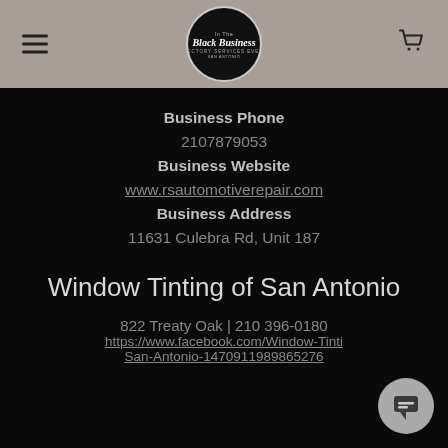Black Business San Antonio — navigation header with logo, hamburger menu, and cart icon
Business Phone
2107879053
Business Website
www.rsautomotiverepair.com
Business Address
11631 Culebra Rd, Unit 187
Window Tinting of San Antonio
822 Treaty Oak | 210 396-0180
https://www.facebook.com/Window-Tinting-San-Antonio-1470911989865276